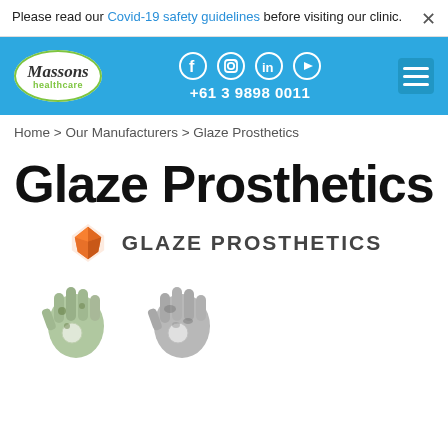Please read our Covid-19 safety guidelines before visiting our clinic.
[Figure (logo): Massons Healthcare logo — white oval with green border, italic text 'Massons' in black and 'healthcare' in green below]
+61 3 9898 0011
Home > Our Manufacturers > Glaze Prosthetics
Glaze Prosthetics
[Figure (logo): Glaze Prosthetics logo — orange geometric gem/diamond shape icon with text 'GLAZE PROSTHETICS' in dark grey]
[Figure (photo): Two prosthetic hands/gloves, one with green plant pattern and one with grey camouflage pattern, partially visible at bottom of page]